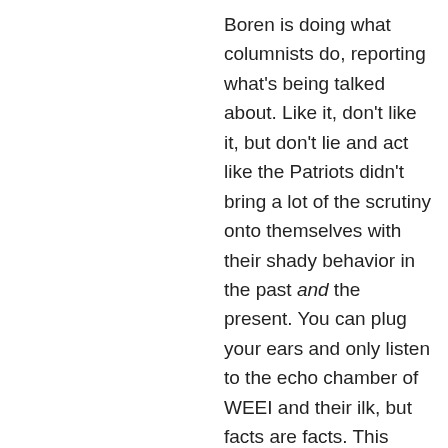Boren is doing what columnists do, reporting what's being talked about. Like it, don't like it, but don't lie and act like the Patriots didn't bring a lot of the scrutiny onto themselves with their shady behavior in the past and the present. You can plug your ears and only listen to the echo chamber of WEEI and their ilk, but facts are facts. This